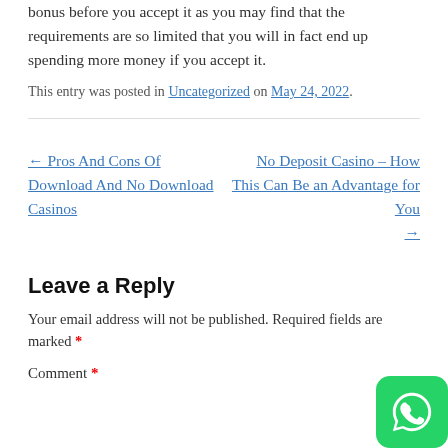bonus before you accept it as you may find that the requirements are so limited that you will in fact end up spending more money if you accept it.
This entry was posted in Uncategorized on May 24, 2022.
← Pros And Cons Of Download And No Download Casinos
No Deposit Casino – How This Can Be an Advantage for You →
Leave a Reply
Your email address will not be published. Required fields are marked *
Comment *